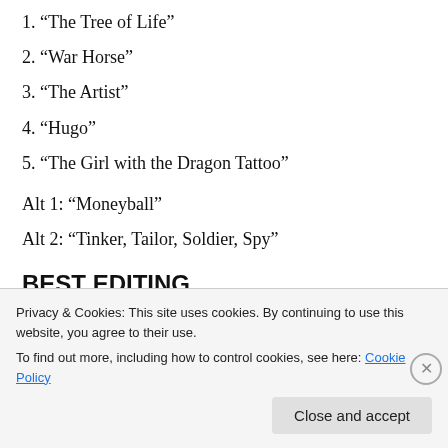1. “The Tree of Life”
2. “War Horse”
3. “The Artist”
4. “Hugo”
5. “The Girl with the Dragon Tattoo”
Alt 1: “Moneyball”
Alt 2: “Tinker, Tailor, Soldier, Spy”
BEST EDITING
1. “Moneyball”
Privacy & Cookies: This site uses cookies. By continuing to use this website, you agree to their use. To find out more, including how to control cookies, see here: Cookie Policy
Close and accept